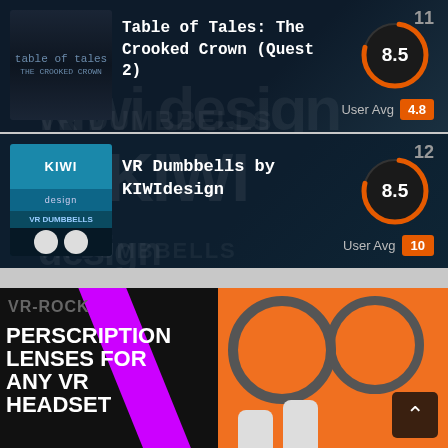[Figure (screenshot): Game listing card rank 11: Table of Tales: The Crooked Crown (Quest 2) with score 8.5 and User Avg 4.8]
[Figure (screenshot): Game listing card rank 12: VR Dumbbells by KIWIdesign with score 8.5 and User Avg 10]
[Figure (photo): VR-Rock prescription lenses advertisement showing text and lens product on orange background]